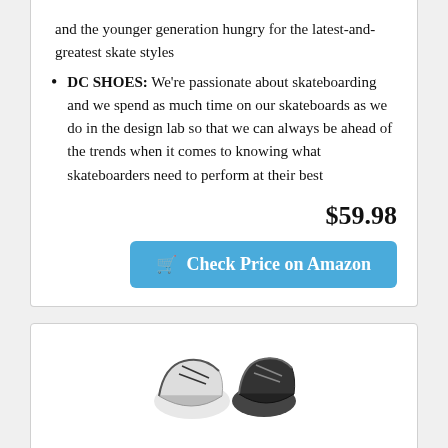and the younger generation hungry for the latest-and-greatest skate styles
DC SHOES: We're passionate about skateboarding and we spend as much time on our skateboards as we do in the design lab so that we can always be ahead of the trends when it comes to knowing what skateboarders need to perform at their best
$59.98
Check Price on Amazon
[Figure (photo): Partial image of skate shoes (black and white) at bottom of page]